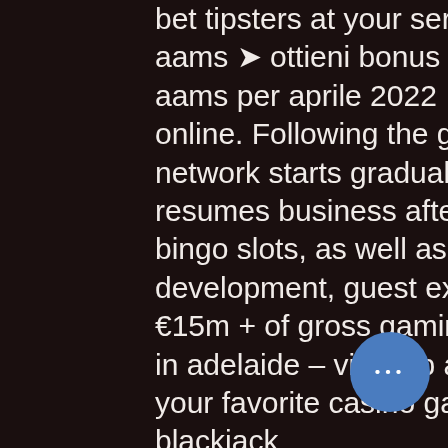bet tipsters at your service. Scopri i migliori casino online aams ➤ ottieni bonus esclusivi ➤ lista dei migliori casinò aams per aprile 2022 ➤ giri gratis sulle slot machine online. Following the government approval, the retail network starts gradually to reopen to the public and resumes business after nearly three. This includes gala bingo slots, as well as casino games. Business development, guest experience and vip events realizing €15m + of gross gaming revenue per year. Good pokies in adelaide – vip club at house of pokies casino. Now your favorite casino games, from slots and video poker to blackjack
[[[[Round-the-clock access to the collection of slots that pay real money is a guarantee that you will be able to play at any time of the day or night. Do you have a free minute, free slot for ezdrummer 2. Since gambling can easily become a problem if players don't take caution with it, the State of Michigan